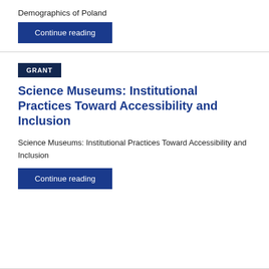Demographics of Poland
Continue reading
Science Museums: Institutional Practices Toward Accessibility and Inclusion
Science Museums: Institutional Practices Toward Accessibility and Inclusion
Continue reading